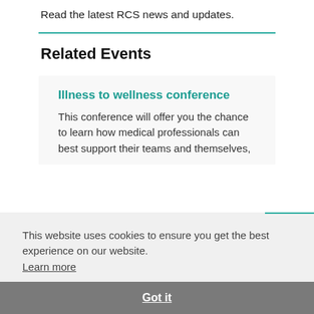Read the latest RCS news and updates.
Related Events
Illness to wellness conference
This conference will offer you the chance to learn how medical professionals can best support their teams and themselves,
This website uses cookies to ensure you get the best experience on our website. Learn more
Got it
drinks reception